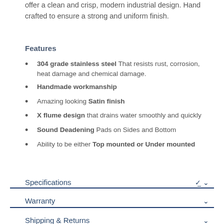offer a clean and crisp, modern industrial design. Hand crafted to ensure a strong and uniform finish.
Features
304 grade stainless steel That resists rust, corrosion, heat damage and chemical damage.
Handmade workmanship
Amazing looking Satin finish
X flume design that drains water smoothly and quickly
Sound Deadening Pads on Sides and Bottom
Ability to be either Top mounted or Under mounted
Specifications
Warranty
Shipping & Returns